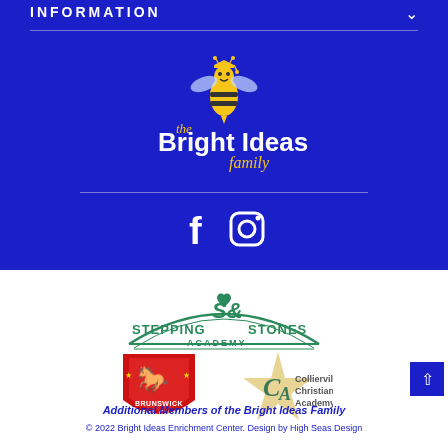INFORMATION
[Figure (logo): The Bright Ideas Family logo — cartoon bee with graduation cap in yellow and gray, text 'the Bright Ideas family' in white and gold on dark blue background]
[Figure (logo): Social media icons: Facebook 'f' and Instagram camera icons in white]
[Figure (logo): Stepping Stones Academy logo — green arch text with heart symbol]
[Figure (logo): Brunswick Kids Club logo — red shield with figures]
[Figure (logo): Collierville Christian Academy logo — gold star with C/A letters]
Additional Members of the Bright Ideas Family
© 2022 Bright Ideas Enrichment Center. Design by High Seas Design